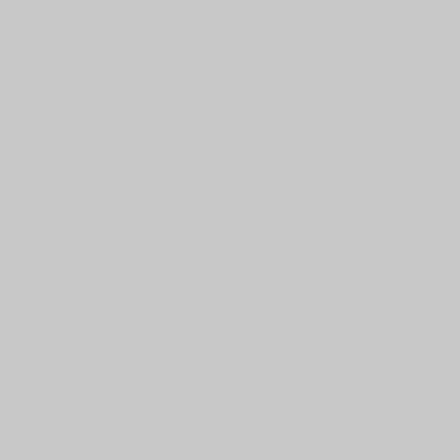[Figure (other): Dark olive/brown colored image thumbnail in top-right corner]
Description: Attempting to fix the squashing of the bulbs seen in the p…
Stats:
Total Favorities: 0 View Who Favorited
Filesize: 55.31kB
Height: 600 Width: 600
Posted by: msltoe 🔑 March 16, 2010, 02:39:29 PM
Rating: ☆☆☆☆ by 1 members.
Image Linking Codes
|  |  |
| --- | --- |
| BB Code | [img]https://nocache-nocookies.d… |
| Direct Link | https://nocache-nocookies.digita… |
| Html Link | <img src="https://nocache-nocoo… |
first 5 bulb the…